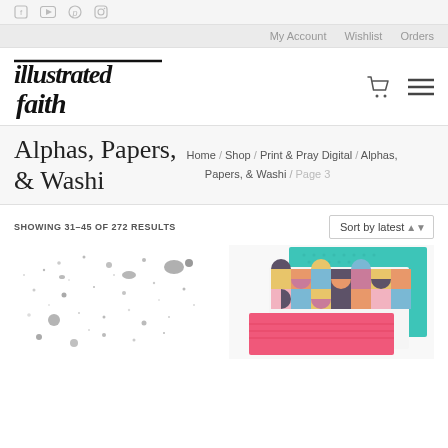Social icons: Facebook, YouTube, Pinterest, Instagram
My Account | Wishlist | Orders
[Figure (logo): Illustrated Faith handwritten logo in bold italic black script]
Alphas, Papers, & Washi
Home / Shop / Print & Pray Digital / Alphas, Papers, & Washi / Page 3
SHOWING 31–45 OF 272 RESULTS
Sort by latest
[Figure (photo): Gray ink splatter pattern on white background — product thumbnail]
[Figure (photo): Stacked colorful patterned papers — teal, geometric multicolor, and pink — product thumbnail]